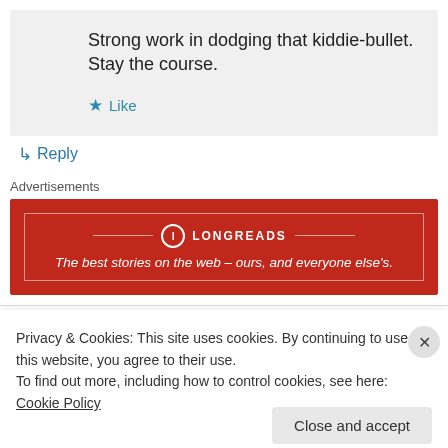Strong work in dodging that kiddie-bullet. Stay the course.
★ Like
↳ Reply
Advertisements
[Figure (other): Longreads advertisement banner — red background with white border, logo circle with L, text: The best stories on the web – ours, and everyone else's.]
Joan on October 15. 2010 at 10:00 am
Privacy & Cookies: This site uses cookies. By continuing to use this website, you agree to their use.
To find out more, including how to control cookies, see here: Cookie Policy
Close and accept